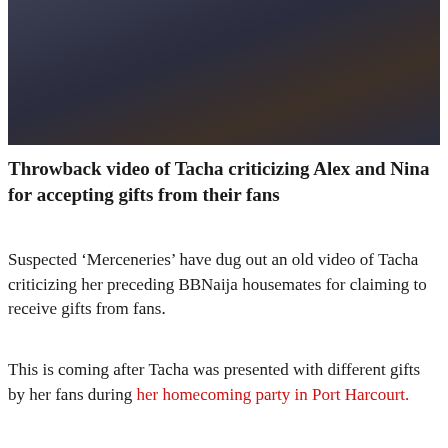[Figure (photo): Partial photo of a person wearing a dark navy/dark blue top or dress, showing upper torso area. The fabric appears draped or wrapped.]
Throwback video of Tacha criticizing Alex and Nina for accepting gifts from their fans
Suspected ‘Merceneries’ have dug out an old video of Tacha criticizing her preceding BBNaija housemates for claiming to receive gifts from fans.
This is coming after Tacha was presented with different gifts by her fans during her homecoming party in Port Harcourt.